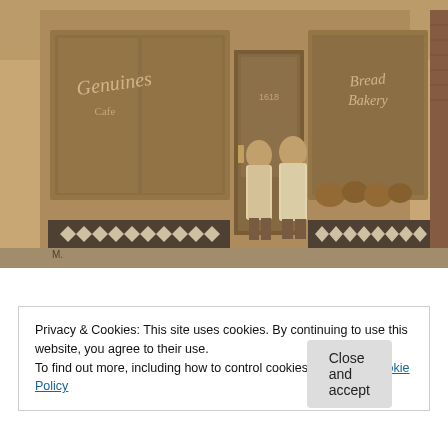[Figure (photo): Sepia-toned historical photograph of a bakery storefront exterior. Two people wearing aprons stand in front of the entrance. The shopfront has decorative black-and-white diamond tile wainscoting. Signs in the windows read 'Genuine' on the left and 'Bread Bakery' on the right. The address number 1618 is visible above the door.]
Privacy & Cookies: This site uses cookies. By continuing to use this website, you agree to their use.
To find out more, including how to control cookies, see here: Cookie Policy
Close and accept